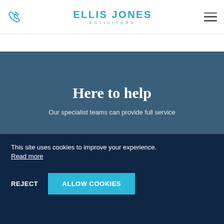[Figure (logo): Ellis Jones Solicitors logo with phone icon and hamburger menu]
Here to help
Our specialist teams can provide full service
This site uses cookies to improve your experience. Read more
REJECT
ALLOW COOKIES